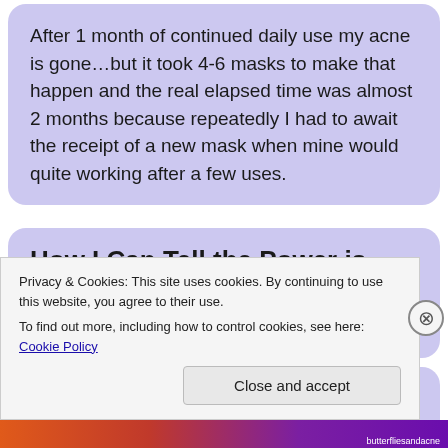After 1 month of continued daily use my acne is gone…but it took 4-6 masks to make that happen and the real elapsed time was almost 2 months because repeatedly I had to await the receipt of a new mask when mine would quite working after a few uses.
How I Can Tell the Power is Fluctuating
1. When functioning at full power the mask grows
Privacy & Cookies: This site uses cookies. By continuing to use this website, you agree to their use.
To find out more, including how to control cookies, see here: Cookie Policy